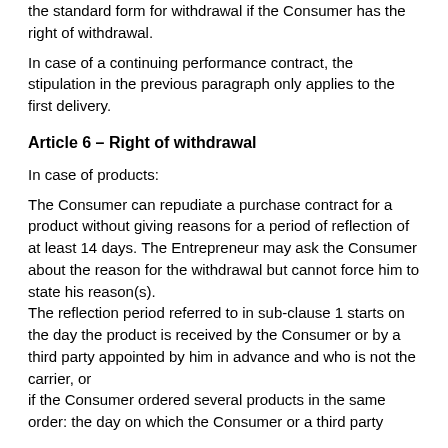the standard form for withdrawal if the Consumer has the right of withdrawal.
In case of a continuing performance contract, the stipulation in the previous paragraph only applies to the first delivery.
Article 6 – Right of withdrawal
In case of products:
The Consumer can repudiate a purchase contract for a product without giving reasons for a period of reflection of at least 14 days. The Entrepreneur may ask the Consumer about the reason for the withdrawal but cannot force him to state his reason(s).
The reflection period referred to in sub-clause 1 starts on the day the product is received by the Consumer or by a third party appointed by him in advance and who is not the carrier, or
if the Consumer ordered several products in the same order: the day on which the Consumer or a third party